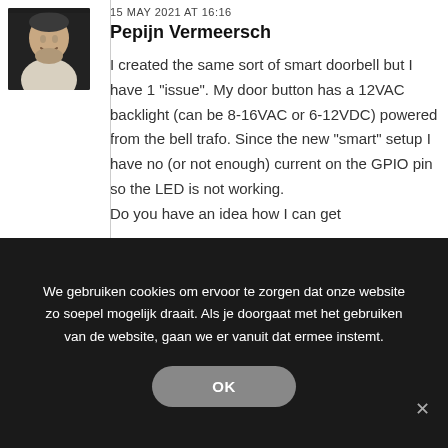[Figure (photo): Black and white headshot photo of a man smiling, wearing a light-colored shirt, against a dark background]
15 MAY 2021 AT 16:16
Pepijn Vermeersch
I created the same sort of smart doorbell but I have 1 "issue". My door button has a 12VAC backlight (can be 8-16VAC or 6-12VDC) powered from the bell trafo. Since the new "smart" setup I have no (or not enough) current on the GPIO pin so the LED is not working.
Do you have an idea how I can get
We gebruiken cookies om ervoor te zorgen dat onze website zo soepel mogelijk draait. Als je doorgaat met het gebruiken van de website, gaan we er vanuit dat ermee instemt.